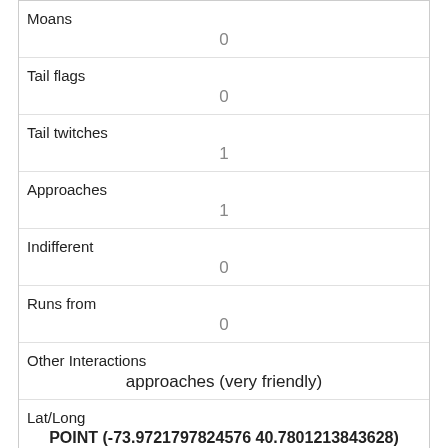| Field | Value |
| --- | --- |
| Moans | 0 |
| Tail flags | 0 |
| Tail twitches | 1 |
| Approaches | 1 |
| Indifferent | 0 |
| Runs from | 0 |
| Other Interactions | approaches (very friendly) |
| Lat/Long | POINT (-73.9721797824576 40.7801213843628) |
| Field | Value |
| --- | --- |
| Link | 485 |
| rowid | 485 |